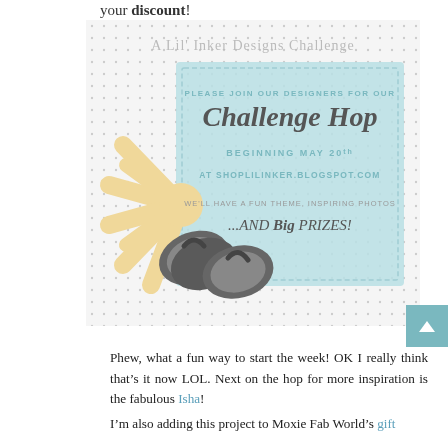your discount!
[Figure (illustration): A Lil' Inker Designs Challenge hop promotional graphic with a light blue card, flip-flop silhouettes, sunburst, and text reading 'PLEASE JOIN OUR DESIGNERS FOR OUR Challenge Hop BEGINNING MAY 20th AT SHOPLILINKER.BLOGSPOT.COM WE'LL HAVE A FUN THEME, INSPIRING PHOTOS ...AND Big PRIZES!']
Phew, what a fun way to start the week! OK I really think that's it now LOL. Next on the hop for more inspiration is the fabulous Isha!
I'm also adding this project to Moxie Fab World's gift